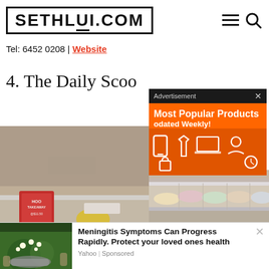SETHLUI.COM
Tel: 6452 0208 | Website
4. The Daily Scoo
[Figure (screenshot): Advertisement overlay showing 'Most Popular Products Updated Weekly!' on orange background with product icons]
[Figure (photo): Interior of a food/ice cream shop showing a display counter with a red promotional sign reading HOO TAKEAWAY at $11.50]
[Figure (photo): Ice cream display counter with glass top showing various flavours]
[Figure (screenshot): Sponsored content ad: person with herbs in bowl. Headline: Meningitis Symptoms Can Progress Rapidly. Protect your loved ones health. Yahoo | Sponsored]